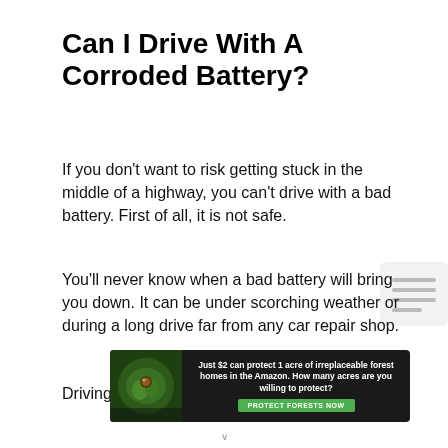Can I Drive With A Corroded Battery?
If you don't want to risk getting stuck in the middle of a highway, you can't drive with a bad battery. First of all, it is not safe.
You'll never know when a bad battery will bring you down. It can be under scorching weather or during a long drive far from any car repair shop.
Driving with a bad battery is like picking your
[Figure (other): Sidebar overlay icon with horizontal lines suggesting a table of contents or menu]
[Figure (other): Advertisement banner: rainforest image on left with text 'Just $2 can protect 1 acre of irreplaceable forest homes in the Amazon. How many acres are you willing to protect?' and green button 'PROTECT FORESTS NOW']